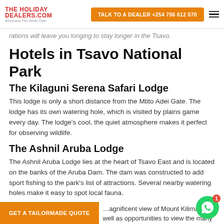THE HOLIDAY DEALERS.COM — Africa and The World Over | TALK TO A DEALER +254 706 612 070
rations will leave you longing to stay longer in the Tsavo.
Hotels in Tsavo National Park
The Kilaguni Serena Safari Lodge
This lodge is only a short distance from the Mtito Adei Gate. The lodge has its own watering hole, which is visited by plains game every day. The lodge's cool, the quiet atmosphere makes it perfect for observing wildlife.
The Ashnil Aruba Lodge
The Ashnil Aruba Lodge lies at the heart of Tsavo East and is located on the banks of the Aruba Dam. The dam was constructed to add sport fishing to the park's list of attractions. Several nearby watering holes make it easy to spot local fauna.
Voyager Ziwani Camp
…agnificent view of Mount Kilimanja… well as opportunities to view the many different wildlife species.
GET A TAILORMADE QUOTE